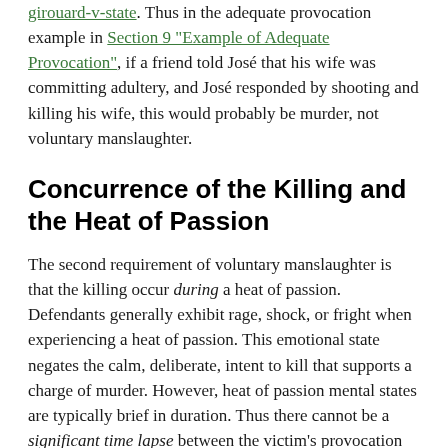girouard-v-state. Thus in the adequate provocation example in Section 9 "Example of Adequate Provocation", if a friend told José that his wife was committing adultery, and José responded by shooting and killing his wife, this would probably be murder, not voluntary manslaughter.
Concurrence of the Killing and the Heat of Passion
The second requirement of voluntary manslaughter is that the killing occur during a heat of passion. Defendants generally exhibit rage, shock, or fright when experiencing a heat of passion. This emotional state negates the calm, deliberate, intent to kill that supports a charge of murder. However, heat of passion mental states are typically brief in duration. Thus there cannot be a significant time lapse between the victim's provocation and the killing.State v. Cole, 338 S.C. 97 (2000), accessed March 1, 2010, http://www.judicial.state.sc.us/opinions/htmlfiles/SC/2